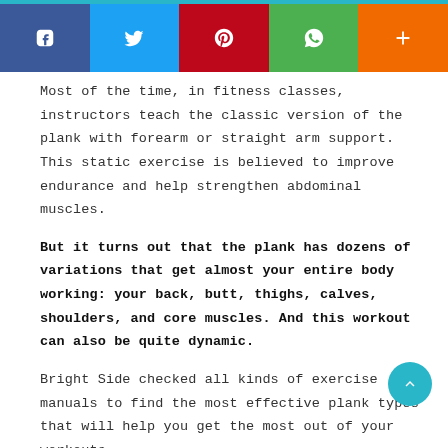[Figure (infographic): Social media share buttons: Facebook (blue), Twitter (light blue), Pinterest (red), WhatsApp (green), More/Plus (orange)]
Most of the time, in fitness classes, instructors teach the classic version of the plank with forearm or straight arm support. This static exercise is believed to improve endurance and help strengthen abdominal muscles.
But it turns out that the plank has dozens of variations that get almost your entire body working: your back, butt, thighs, calves, shoulders, and core muscles. And this workout can also be quite dynamic.
Bright Side checked all kinds of exercise manuals to find the most effective plank types that will help you get the most out of your workouts.
Combine the types according to your fitness level